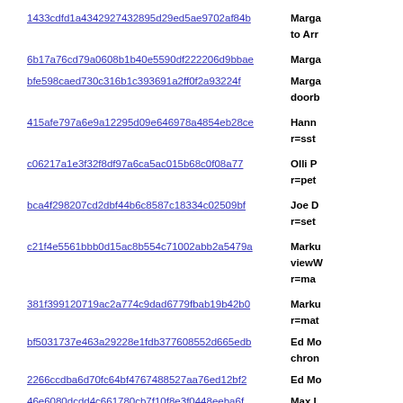1433cdfd1a43429274328 95d29ed5ae9702af84b | Marga... to Arr...
6b17a76cd79a0608b1b40e5590df222206d9bbae | Marga...
bfe598caed730c316b1c393691a2ff0f2a93224f | Marga... doorb...
415afe797a6e9a12295d09e646978a4854eb28ce | Hann... r=sst...
c06217a1e3f32f8df97a6ca5ac015b68c0f08a77 | Olli P... r=pet...
bca4f298207cd2dbf44b6c8587c18334c02509bf | Joe D... r=set...
c21f4e5561bbb0d15ac8b554c71002abb2a5479a | Marku... viewW... r=ma...
381f399120719ac2a774c9dad6779fbab19b42b0 | Marku... r=mat...
bf5031737e463a29228e1fdb377608552d665edb | Ed Mo... chron...
2266ccdba6d70fc64bf4767488527aa76ed12bf2 | Ed Mo...
46e6080dcdd4c661780cb7f10f8e3f0448eeba6f | Max L... r=kat...
80732a2b842203580374a0f8aba841c4b366ca2b | Andre... to .th...
96036434bb78b0d8418d1fd4b01605862a8fe9c3 | Andre...
457bf850bf0448822da272d31ea763873b950c53 | Ed Mo...
1c1ae670a995e8d5621a264fdc7fffdff2eb23cd | Josh... threa...
80ccob4bb2dbbf515ooc6dcoc68od5ofab271c41 | Beno...